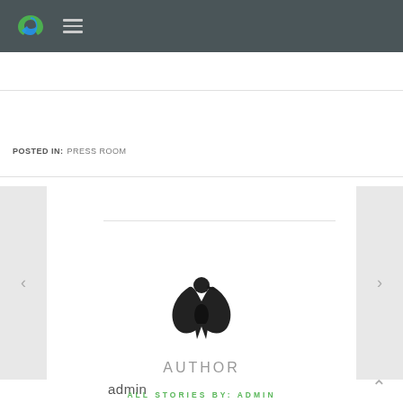Navigation header with logo and hamburger menu
POSTED IN: PRESS ROOM
[Figure (logo): Author avatar icon — black stylized bird/tool silhouette]
AUTHOR
admin
ALL STORIES BY: ADMIN